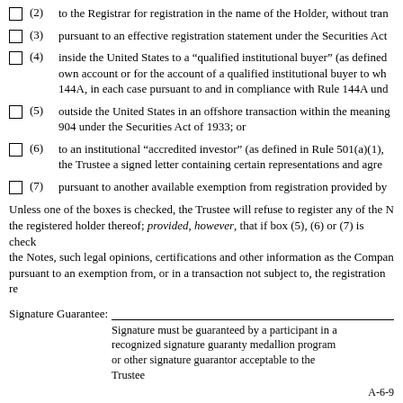(2) to the Registrar for registration in the name of the Holder, without transfer;
(3) pursuant to an effective registration statement under the Securities Act;
(4) inside the United States to a “qualified institutional buyer” (as defined in Rule 144A), purchasing for its own account or for the account of a qualified institutional buyer to whom notice is given that such transfer is being made in reliance on Rule 144A, in each case pursuant to and in compliance with Rule 144A under the Securities Act of 1933; or
(5) outside the United States in an offshore transaction within the meaning of Regulation S under Rule 904 under the Securities Act of 1933; or
(6) to an institutional “accredited investor” (as defined in Rule 501(a)(1), (2), (3) or (7)) that has furnished to the Trustee a signed letter containing certain representations and agreements; or
(7) pursuant to another available exemption from registration provided by Rule 144 under the Securities Act;
Unless one of the boxes is checked, the Trustee will refuse to register any of the Notes evidenced by this certificate in the name of any person other than the registered holder thereof; provided, however, that if box (5), (6) or (7) is checked, the Trustee may require, prior to registering any such transfer of the Notes, such legal opinions, certifications and other information as the Company has reasonably requested to confirm that such transfer is being made pursuant to an exemption from, or in a transaction not subject to, the registration requirements of the Securities Act of 1933.
Signature Guarantee:
Signature must be guaranteed by a participant in a recognized signature guaranty medallion program or other signature guarantor acceptable to the Trustee
A-6-9